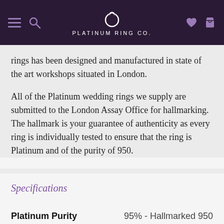Platinum Ring Co.
rings has been designed and manufactured in state of the art workshops situated in London.
All of the Platinum wedding rings we supply are submitted to the London Assay Office for hallmarking. The hallmark is your guarantee of authenticity as every ring is individually tested to ensure that the ring is Platinum and of the purity of 950.
Specifications
|  |  |
| --- | --- |
| Platinum Purity | 95% - Hallmarked 950 |